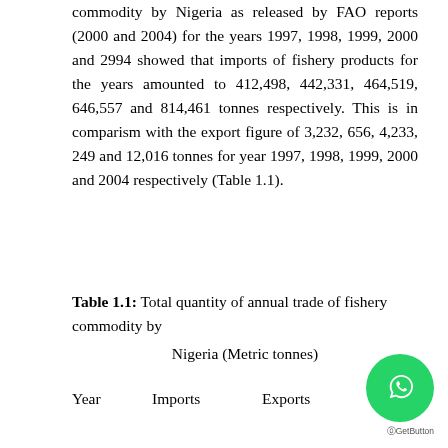commodity by Nigeria as released by FAO reports (2000 and 2004) for the years 1997, 1998, 1999, 2000 and 2994 showed that imports of fishery products for the years amounted to 412,498, 442,331, 464,519, 646,557 and 814,461 tonnes respectively. This is in comparism with the export figure of 3,232, 656, 4,233, 249 and 12,016 tonnes for year 1997, 1998, 1999, 2000 and 2004 respectively (Table 1.1).
Table 1.1: Total quantity of annual trade of fishery commodity by
Nigeria (Metric tonnes)
| Year | Imports | Exports |
| --- | --- | --- |